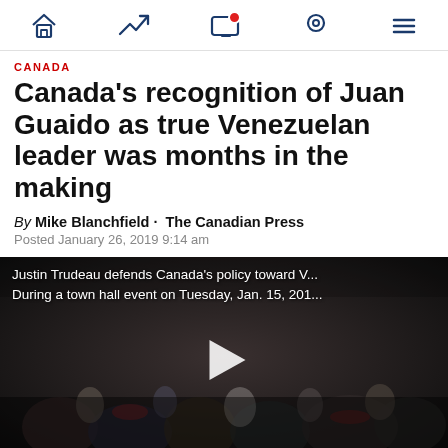Navigation bar with home, trending, screen/notifications, location, and menu icons
CANADA
Canada’s recognition of Juan Guaido as true Venezuelan leader was months in the making
By Mike Blanchfield · The Canadian Press
Posted January 26, 2019 9:14 am
[Figure (screenshot): Video thumbnail showing a crowd at a town hall event with caption: Justin Trudeau defends Canada’s policy toward V... During a town hall event on Tuesday, Jan. 15, 201... A play button is overlaid in the center.]